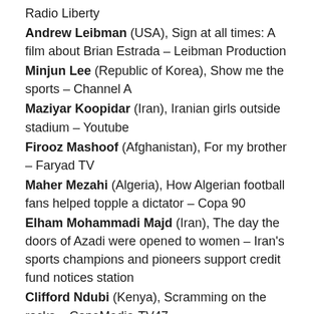Radio Liberty
Andrew Leibman (USA), Sign at all times: A film about Brian Estrada – Leibman Production
Minjun Lee (Republic of Korea), Show me the sports – Channel A
Maziyar Koopidar (Iran), Iranian girls outside stadium – Youtube
Firooz Mashoof (Afghanistan), For my brother – Faryad TV
Maher Mezahi (Algeria), How Algerian football fans helped topple a dictator – Copa 90
Elham Mohammadi Majd (Iran), The day the doors of Azadi were opened to women – Iran's sports champions and pioneers support credit fund notices station
Clifford Ndubi (Kenya), Scramming on the rocks – CapeMedia-TV47